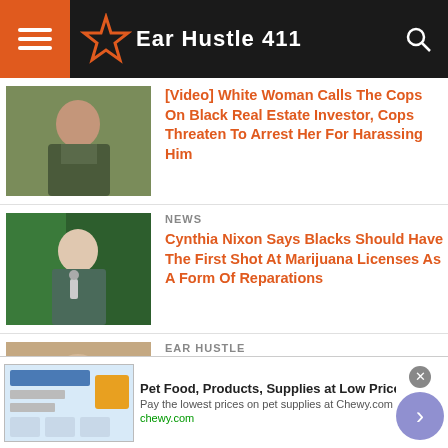Ear Hustle 411
[Video] White Woman Calls The Cops On Black Real Estate Investor, Cops Threaten To Arrest Her For Harassing Him
NEWS
Cynthia Nixon Says Blacks Should Have The First Shot At Marijuana Licenses As A Form Of Reparations
EAR HUSTLE
White Scientist Says The Black Community Is Being Targeted By The Medical System, They Are Deliberately Being Poisoned And Killed...
Pet Food, Products, Supplies at Low Prices - Pay the lowest prices on pet supplies at Chewy.com chewy.com